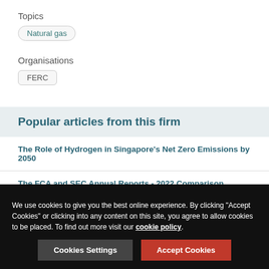Topics
Natural gas
Organisations
FERC
Popular articles from this firm
The Role of Hydrogen in Singapore's Net Zero Emissions by 2050
The FCA and SEC Annual Reports - 2022 Comparison
Federal Circuit Confirms 'Inventor' Must Be Human, Not AI
We use cookies to give you the best online experience. By clicking "Accept Cookies" or clicking into any content on this site, you agree to allow cookies to be placed. To find out more visit our cookie policy.